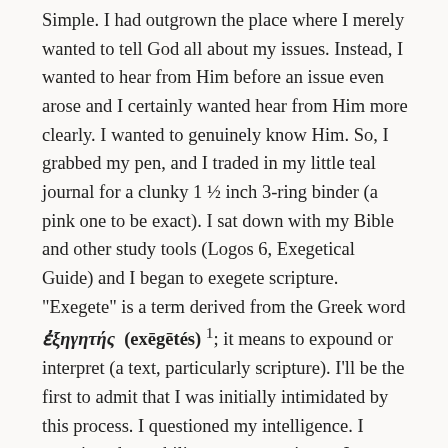Simple. I had outgrown the place where I merely wanted to tell God all about my issues. Instead, I wanted to hear from Him before an issue even arose and I certainly wanted hear from Him more clearly. I wanted to genuinely know Him. So, I grabbed my pen, and I traded in my little teal journal for a clunky 1 ½ inch 3-ring binder (a pink one to be exact). I sat down with my Bible and other study tools (Logos 6, Exegetical Guide) and I began to exegete scripture. "Exegete" is a term derived from the Greek word ἐξηγητής (exēgētés) 1; it means to expound or interpret (a text, particularly scripture). I'll be the first to admit that I was initially intimidated by this process. I questioned my intelligence. I questioned my ability to stay consistent. I questioned everything! But even in my questioning, I know